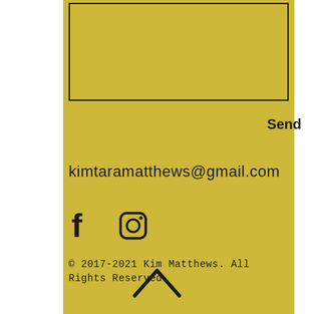[Figure (other): Input textarea box with dark border on gold background]
Send
kimtaramatthews@gmail.com
[Figure (other): Facebook and Instagram social media icons]
© 2017-2021 Kim Matthews. All Rights Reserved
[Figure (other): Upward chevron/caret navigation arrow]